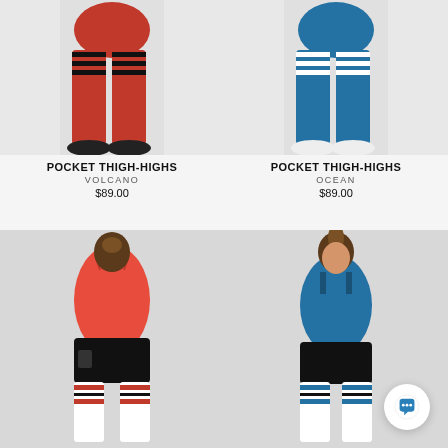[Figure (photo): Woman wearing red Pocket Thigh-Highs leggings with black stripes, black shoes, on light grey background]
POCKET THIGH-HIGHS
VOLCANO
$89.00
[Figure (photo): Woman wearing blue Pocket Thigh-Highs leggings with white stripes, white shoes, on light grey background]
POCKET THIGH-HIGHS
OCEAN
$89.00
[Figure (photo): Woman in red sports bra and black shorts with white thigh-high socks with red and black stripes, facing away, showing back]
[Figure (photo): Woman in blue sports bra and black shorts with white thigh-high socks with blue and black stripes, facing forward]